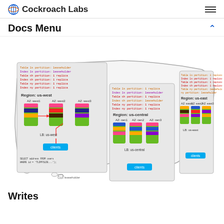Cockroach Labs
Docs Menu
[Figure (infographic): Diagram showing CockroachDB geo-partitioning across three US regions (us-west, us-central, us-east) overlaid on a map of the United States. Each region panel shows partition metadata text (table/index partition info in colored text), three availability zones with colored database replica icons, a load balancer label, a Clients button, and a SQL query example in us-west. A leaseholder legend is shown at the bottom left.]
Writes